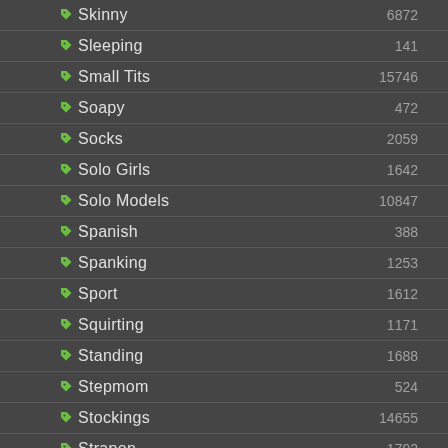Skinny 6872
Sleeping 141
Small Tits 15746
Soapy 472
Socks 2059
Solo Girls 1642
Solo Models 10847
Spanish 388
Spanking 1253
Sport 1612
Squirting 1171
Standing 1688
Stepmom 524
Stockings 14655
Strapon 1792